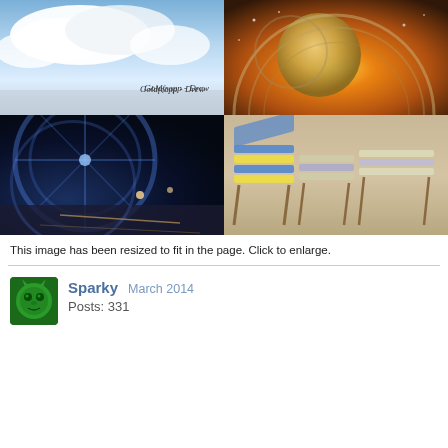[Figure (photo): A 2x2 grid of four photos: top-left shows a cloudy blue sky with text 'Goldfrapp - Drew', top-right shows a moon/clock composite with warm orange tones, bottom-left shows a ferris wheel at night with blue lighting, bottom-right shows beach/deck chairs on a sandy beach.]
This image has been resized to fit in the page. Click to enlarge.
Sparky   March 2014
Posts: 331